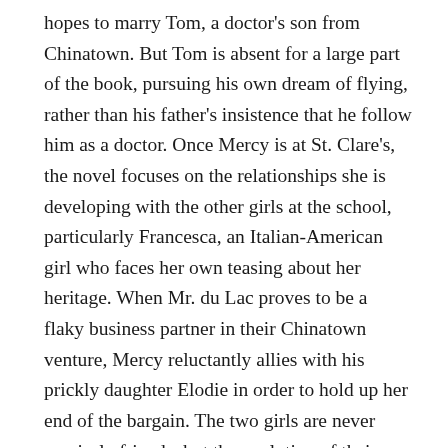hopes to marry Tom, a doctor's son from Chinatown. But Tom is absent for a large part of the book, pursuing his own dream of flying, rather than his father's insistence that he follow him as a doctor. Once Mercy is at St. Clare's, the novel focuses on the relationships she is developing with the other girls at the school, particularly Francesca, an Italian-American girl who faces her own teasing about her heritage. When Mr. du Lac proves to be a flaky business partner in their Chinatown venture, Mercy reluctantly allies with his prickly daughter Elodie in order to hold up her end of the bargain. The two girls are never precisely friends, but the evolution of their relationship over the course of the novel is a pleasure to watch. In the aftermath of the earthquake, the students must come together to try to shelter and feed everyone while the city is under martial law, awaiting relief assistance. This opens the second act, in which the girls really come into their own. Like Lee's first